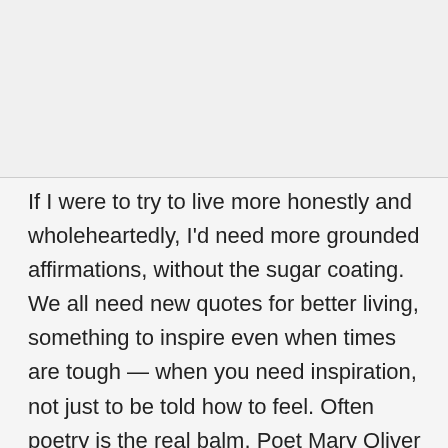If I were to try to live more honestly and wholeheartedly, I'd need more grounded affirmations, without the sugar coating. We all need new quotes for better living, something to inspire even when times are tough — when you need inspiration, not just to be told how to feel. Often poetry is the real balm. Poet Mary Oliver provides excellent guidance in her poem "Sometimes," in which she offers these "[i]nstructions for living a life: / Pay attention. / Be astonished. / Tell about it."